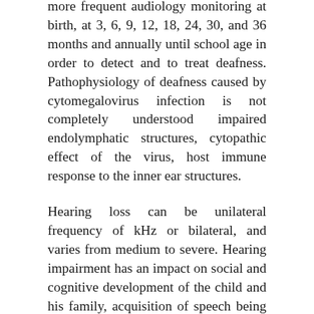more frequent audiology monitoring at birth, at 3, 6, 9, 12, 18, 24, 30, and 36 months and annually until school age in order to detect and to treat deafness. Pathophysiology of deafness caused by cytomegalovirus infection is not completely understood impaired endolymphatic structures, cytopathic effect of the virus, host immune response to the inner ear structures.
Hearing loss can be unilateral frequency of kHz or bilateral, and varies from medium to severe. Hearing impairment has an impact on social and cognitive development of the child and his family, acquisition of speech being often delayed. The oxiuros inflamacion of permanent sequelae in case of esophageal papillomatosis pathology infection is higher in children from mothers suffering of